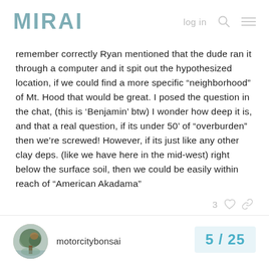MIRAI  log in
remember correctly Ryan mentioned that the dude ran it through a computer and it spit out the hypothesized location, if we could find a more specific “neighborhood” of Mt. Hood that would be great. I posed the question in the chat, (this is ‘Benjamin’ btw) I wonder how deep it is, and that a real question, if its under 50’ of “overburden” then we’re screwed! However, if its just like any other clay deps. (like we have here in the mid-west) right below the surface soil, then we could be easily within reach of “American Akadama”
motorcitybonsai  Feb ’18
5 / 25